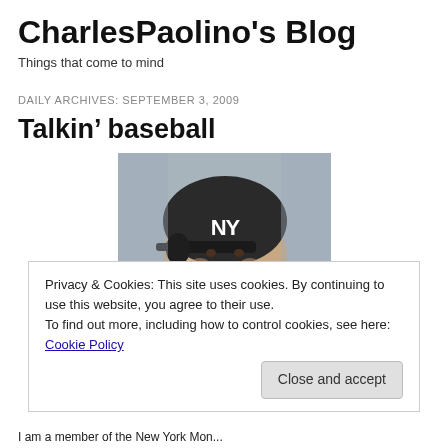CharlesPaolino's Blog
Things that come to mind
DAILY ARCHIVES: SEPTEMBER 3, 2009
Talkin’ baseball
[Figure (photo): Photo of a baseball player wearing a New York Yankees batting helmet, smiling]
Privacy & Cookies: This site uses cookies. By continuing to use this website, you agree to their use.
To find out more, including how to control cookies, see here: Cookie Policy
I am a member of the New York Mon...